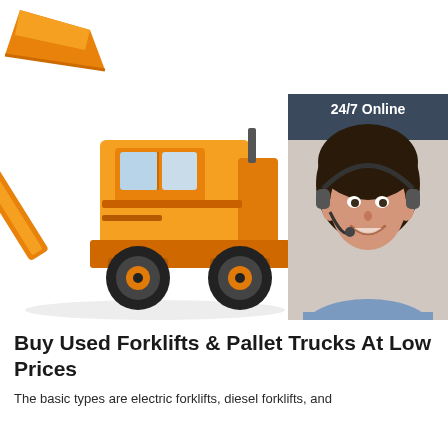[Figure (photo): Large orange wheel loader / front loader construction machine shown at an angle against a white background, with bucket raised]
[Figure (infographic): 24/7 Online chat support banner featuring a woman with a headset smiling. Dark slate background with text 'Click here for free chat!' and an orange 'QUOTATION' button.]
Buy Used Forklifts & Pallet Trucks At Low Prices
The basic types are electric forklifts, diesel forklifts, and